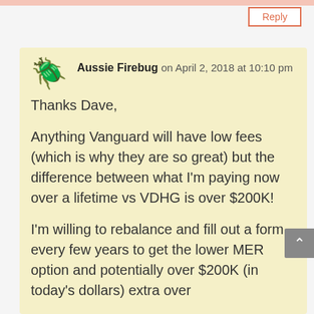Reply
Aussie Firebug on April 2, 2018 at 10:10 pm
Thanks Dave,

Anything Vanguard will have low fees (which is why they are so great) but the difference between what I'm paying now over a lifetime vs VDHG is over $200K!

I'm willing to rebalance and fill out a form every few years to get the lower MER option and potentially over $200K (in today's dollars) extra over